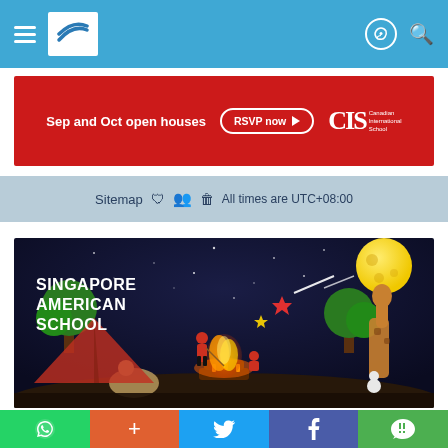Navigation bar with hamburger menu, school logo, user icon, and search icon
[Figure (infographic): Red banner advertisement: 'Sep and Oct open houses' with 'RSVP now' button and Canadian International School (CIS) logo]
Sitemap  All times are UTC+08:00
[Figure (photo): Singapore American School promotional image showing children around a campfire at night with glowing stars, a shooting star, trees, a giraffe toy, and the text SINGAPORE AMERICAN SCHOOL in white bold letters on the left side]
Social share buttons: WhatsApp, +, Twitter, Facebook, WeChat